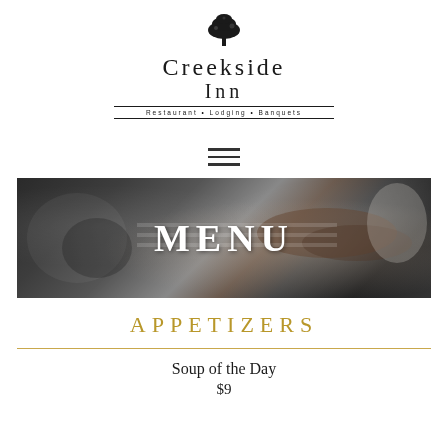[Figure (logo): Creekside Inn logo with tree illustration, restaurant name, and tagline 'Restaurant • Lodging • Banquets']
[Figure (illustration): Hamburger/menu icon with three horizontal lines]
[Figure (photo): Black and white photo of food being grilled/cooked on a grill, with the word MENU overlaid in large white letters]
APPETIZERS
Soup of the Day
$9